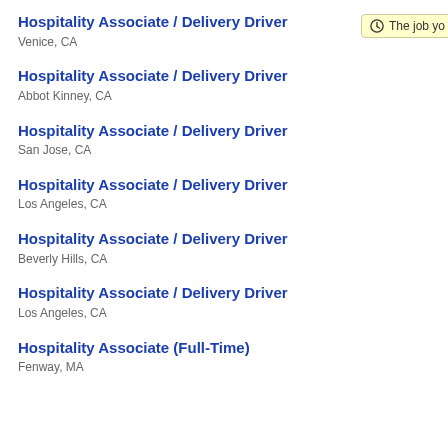Hospitality Associate / Delivery Driver
Venice, CA
Hospitality Associate / Delivery Driver
Abbot Kinney, CA
Hospitality Associate / Delivery Driver
San Jose, CA
Hospitality Associate / Delivery Driver
Los Angeles, CA
Hospitality Associate / Delivery Driver
Beverly Hills, CA
Hospitality Associate / Delivery Driver
Los Angeles, CA
Hospitality Associate (Full-Time)
Fenway, MA